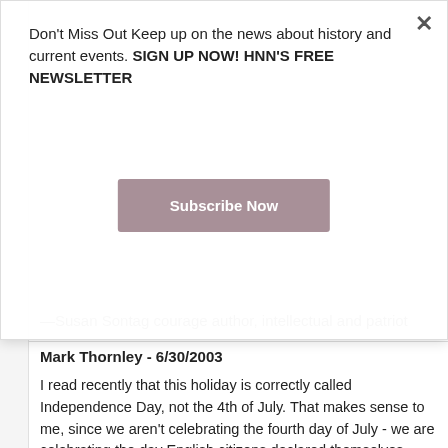Don't Miss Out Keep up on the news about history and current events. SIGN UP NOW! HNN'S FREE NEWSLETTER
Subscribe Now
—Susan Sontag courage author, intellectual and patriot
Mark Thornley - 6/30/2003
I read recently that this holiday is correctly called Independence Day, not the 4th of July. That makes sense to me, since we aren't celebrating the fourth day of July - we are celebrating the day English citizens declared themselves independent from their leader, King George of England.
I read the Declaration of Independence every year. It's significance is clear to me when I consider that the signers were not Americans at the time they signed, they were English